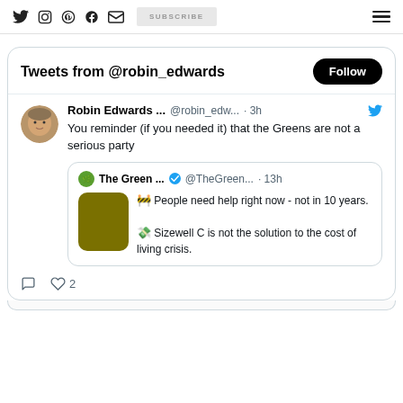Navigation bar with social icons (Twitter, Instagram, Pinterest, Facebook, Email), SUBSCRIBE button, and hamburger menu
Tweets from @robin_edwards
Robin Edwards ... @robin_edw... · 3h — You reminder (if you needed it) that the Greens are not a serious party
The Green ... @TheGreen... · 13h — 🚧 People need help right now - not in 10 years. 💸 Sizewell C is not the solution to the cost of living crisis.
❤ 2